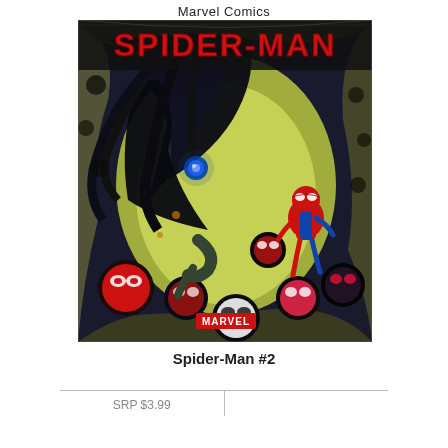Marvel Comics
[Figure (illustration): Comic book cover for Spider-Man #2. A large dark creature with glowing blue eyes looms over a small Spider-Man figure on the right. The background shows a yellowish-green void surrounded by organic, web-like structures with circular holes. Multiple Spider-Man and Marvel character faces appear in the holes at the bottom. The MARVEL logo appears at the bottom center. The title 'SPIDER-MAN' is displayed in large red letters with a web-like border at the top.]
Spider-Man #2
| SRP $3.99 |  |